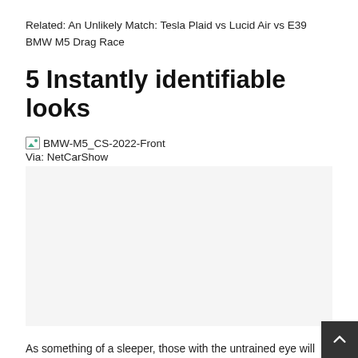Related: An Unlikely Match: Tesla Plaid vs Lucid Air vs E39 BMW M5 Drag Race
5 Instantly identifiable looks
[Figure (photo): Broken image placeholder labeled BMW-M5_CS-2022-Front with caption Via: NetCarShow]
As something of a sleeper, those with the untrained eye will just see a regular 5 Series sedan. However, for those in the know, the M5 CS is easy to separate from the rest